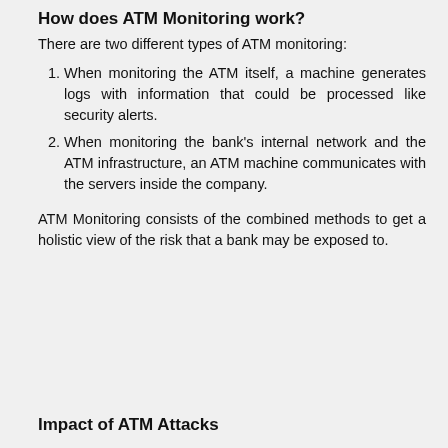How does ATM Monitoring work?
There are two different types of ATM monitoring:
When monitoring the ATM itself, a machine generates logs with information that could be processed like security alerts.
When monitoring the bank's internal network and the ATM infrastructure, an ATM machine communicates with the servers inside the company.
ATM Monitoring consists of the combined methods to get a holistic view of the risk that a bank may be exposed to.
Impact of ATM Attacks